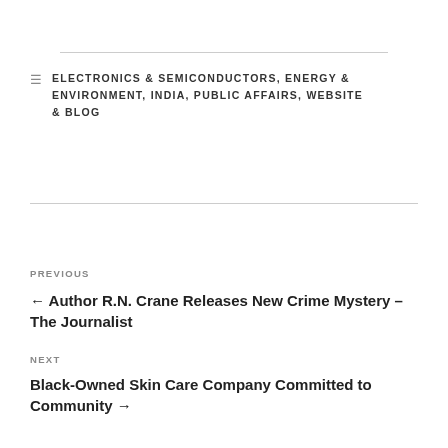ELECTRONICS & SEMICONDUCTORS, ENERGY & ENVIRONMENT, INDIA, PUBLIC AFFAIRS, WEBSITE & BLOG
PREVIOUS
← Author R.N. Crane Releases New Crime Mystery – The Journalist
NEXT
Black-Owned Skin Care Company Committed to Community →